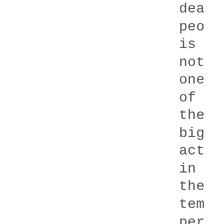dea
peo
is
not
one
of
the
big
act
in
the
tem
per